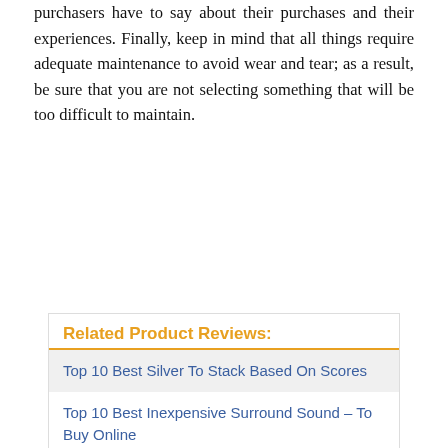purchasers have to say about their purchases and their experiences. Finally, keep in mind that all things require adequate maintenance to avoid wear and tear; as a result, be sure that you are not selecting something that will be too difficult to maintain.
Related Product Reviews:
Top 10 Best Silver To Stack Based On Scores
Top 10 Best Inexpensive Surround Sound – To Buy Online
Top 10 Best Studio Mixing Console Based On User Rating